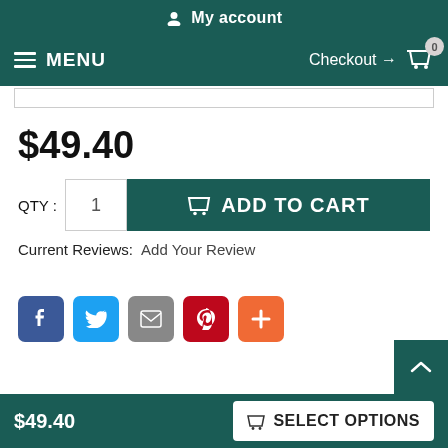My account
MENU  Checkout → 0
$49.40
QTY :  1   ADD TO CART
Current Reviews:   Add Your Review
[Figure (other): Social sharing buttons: Facebook, Twitter, Email, Pinterest, More (+)]
$49.40   SELECT OPTIONS